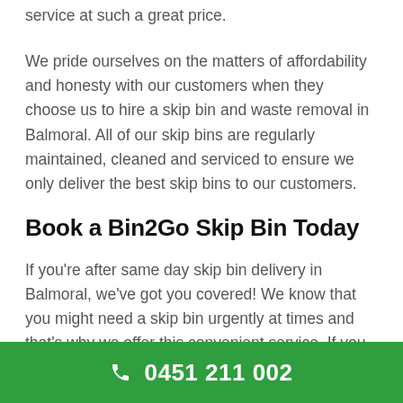service at such a great price.

We pride ourselves on the matters of affordability and honesty with our customers when they choose us to hire a skip bin and waste removal in Balmoral. All of our skip bins are regularly maintained, cleaned and serviced to ensure we only deliver the best skip bins to our customers.
Book a Bin2Go Skip Bin Today
If you're after same day skip bin delivery in Balmoral, we've got you covered! We know that you might need a skip bin urgently at times and that's why we offer this convenient service. If you order your skip bin by midday, we'll have it to you the same day. Our service is environmentally friendly
📞 0451 211 002